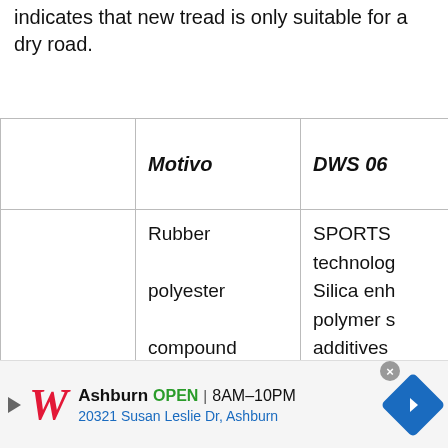indicates that new tread is only suitable for a dry road.
|  | Motivo | DWS 06 |
| --- | --- | --- |
| Tread composition | Rubber polyester compound Silica enhancements | SPORTS technology Silica enhanced polymer s additives Reinfor... |
[Figure (other): Walgreens advertisement banner: Ashburn OPEN 8AM-10PM, 20321 Susan Leslie Dr, Ashburn. Blue navigation arrow icon.]